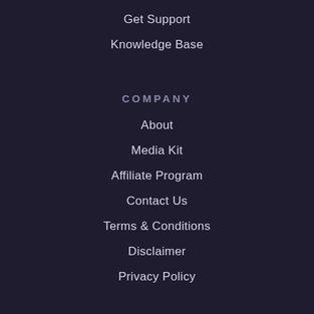Get Support
Knowledge Base
COMPANY
About
Media Kit
Affiliate Program
Contact Us
Terms & Conditions
Disclaimer
Privacy Policy